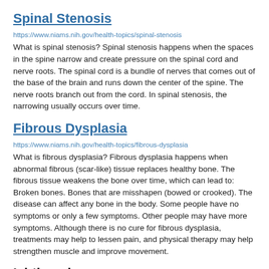Spinal Stenosis
https://www.niams.nih.gov/health-topics/spinal-stenosis
What is spinal stenosis? Spinal stenosis happens when the spaces in the spine narrow and create pressure on the spinal cord and nerve roots. The spinal cord is a bundle of nerves that comes out of the base of the brain and runs down the center of the spine. The nerve roots branch out from the cord. In spinal stenosis, the narrowing usually occurs over time.
Fibrous Dysplasia
https://www.niams.nih.gov/health-topics/fibrous-dysplasia
What is fibrous dysplasia? Fibrous dysplasia happens when abnormal fibrous (scar-like) tissue replaces healthy bone. The fibrous tissue weakens the bone over time, which can lead to: Broken bones. Bones that are misshapen (bowed or crooked). The disease can affect any bone in the body. Some people have no symptoms or only a few symptoms. Other people may have more symptoms. Although there is no cure for fibrous dysplasia, treatments may help to lessen pain, and physical therapy may help strengthen muscle and improve movement.
Ichthyosis